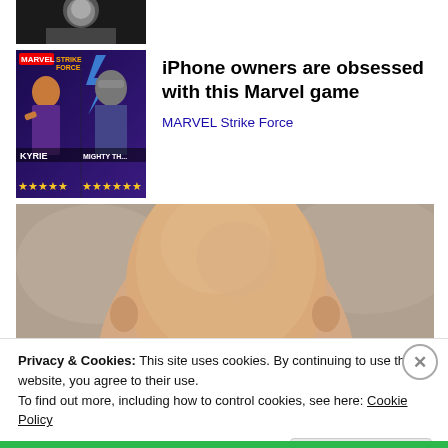[Figure (photo): Black and white photo strip at top, partial view of a person]
[Figure (illustration): MARVEL Strike Force game ad image showing Kyrie and Mighty Thor characters with star ratings]
iPhone owners are obsessed with this Marvel game
MARVEL Strike Force
[Figure (photo): Photo of a bald baby's head from behind, blurred background]
Privacy & Cookies: This site uses cookies. By continuing to use this website, you agree to their use.
To find out more, including how to control cookies, see here: Cookie Policy
Close and accept